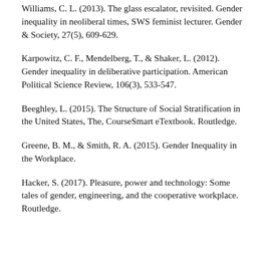Williams, C. L. (2013). The glass escalator, revisited. Gender inequality in neoliberal times, SWS feminist lecturer. Gender & Society, 27(5), 609-629.
Karpowitz, C. F., Mendelberg, T., & Shaker, L. (2012). Gender inequality in deliberative participation. American Political Science Review, 106(3), 533-547.
Beeghley, L. (2015). The Structure of Social Stratification in the United States, The, CourseSmart eTextbook. Routledge.
Greene, B. M., & Smith, R. A. (2015). Gender Inequality in the Workplace.
Hacker, S. (2017). Pleasure, power and technology: Some tales of gender, engineering, and the cooperative workplace. Routledge.